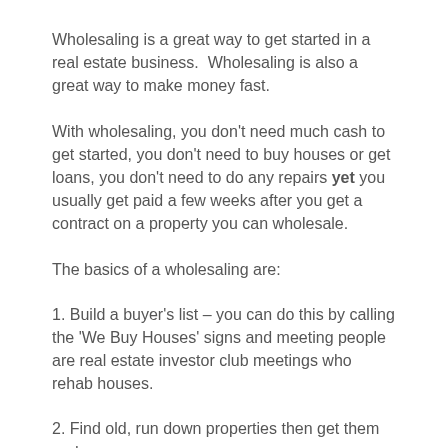Wholesaling is a great way to get started in a real estate business.  Wholesaling is also a great way to make money fast.
With wholesaling, you don't need much cash to get started, you don't need to buy houses or get loans, you don't need to do any repairs yet you usually get paid a few weeks after you get a contract on a property you can wholesale.
The basics of a wholesaling are:
1. Build a buyer's list – you can do this by calling the 'We Buy Houses' signs and meeting people are real estate investor club meetings who rehab houses.
2. Find old, run down properties then get them under